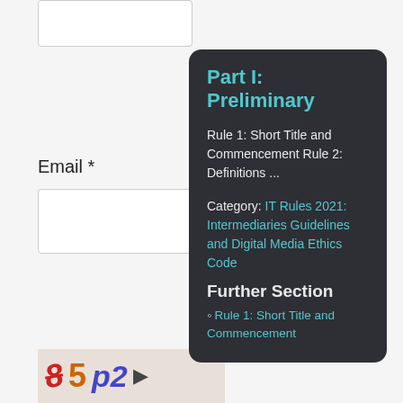Email *
Website
< Prev
Next >
Save my name, email, and website in this browser for the next time I comment.
Part I: Preliminary
Rule 1: Short Title and Commencement Rule 2: Definitions ...
Category: IT Rules 2021: Intermediaries Guidelines and Digital Media Ethics Code
Further Section
Rule 1: Short Title and Commencement